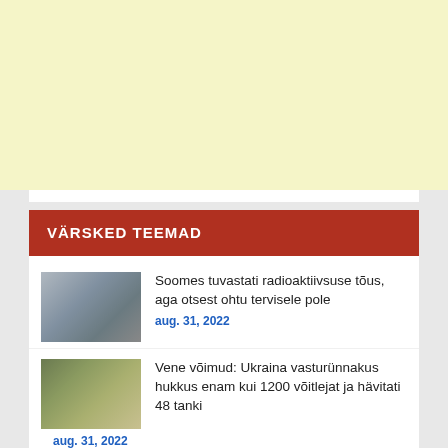[Figure (other): Yellow/cream colored advertisement banner area]
VÄRSKED TEEMAD
Soomes tuvastati radioaktiivsuse tõus, aga otsest ohtu tervisele pole
aug. 31, 2022
Vene võimud: Ukraina vasturünnakus hukkus enam kui 1200 võitlejat ja hävitati 48 tanki
aug. 31, 2022
Soome mees lahkus pere juurest, kuna ei